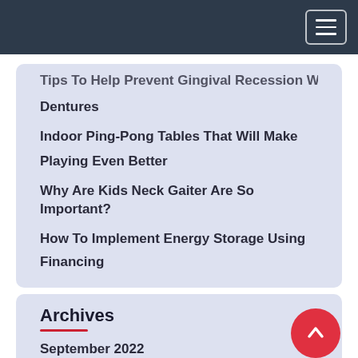Navigation bar with hamburger menu icon
Tips To Help Prevent Gingival Recession With Dentures
Indoor Ping-Pong Tables That Will Make Playing Even Better
Why Are Kids Neck Gaiter Are So Important?
How To Implement Energy Storage Using Financing
Archives
September 2022
August 2022